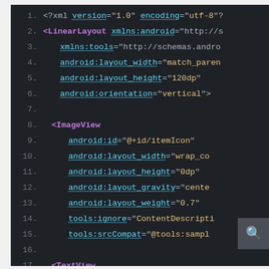[Figure (screenshot): Android Studio XML code editor showing an XML layout file with LinearLayout containing ImageView and TextView elements. Dark theme code editor with line numbers 1-20 visible. A search button icon appears in the bottom right.]